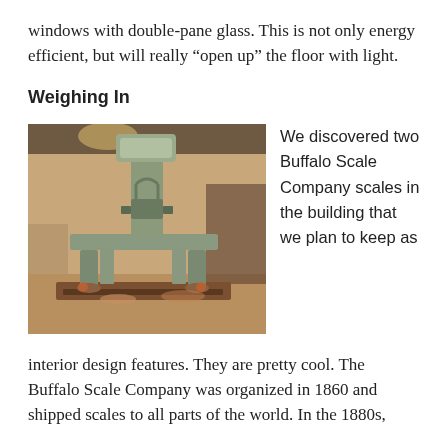windows with double-pane glass. This is not only energy efficient, but will really “open up” the floor with light.
Weighing In
[Figure (photo): Industrial scale from Buffalo Scale Company installed in a building interior. Large metal scale base with legs on a dusty concrete floor.]
We discovered two Buffalo Scale Company scales in the building that we plan to keep as interior design features. They are pretty cool. The Buffalo Scale Company was organized in 1860 and shipped scales to all parts of the world. In the 1880s,